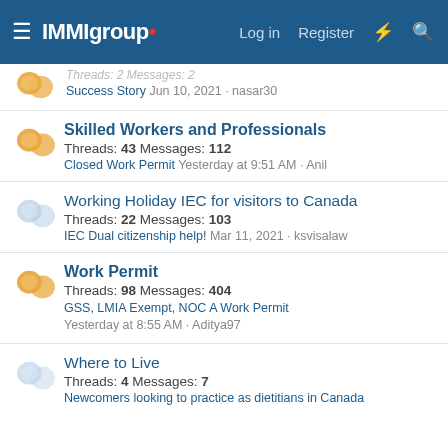IMMIgroup — Log in | Register
Threads: 2 Messages: 2 | Success Story Jun 10, 2021 · nasar30
Skilled Workers and Professionals
Threads: 43 Messages: 112
Closed Work Permit Yesterday at 9:51 AM · Anil
Working Holiday IEC for visitors to Canada
Threads: 22 Messages: 103
IEC Dual citizenship help! Mar 11, 2021 · ksvisalaw
Work Permit
Threads: 98 Messages: 404
GSS, LMIA Exempt, NOC A Work Permit
Yesterday at 8:55 AM · Aditya97
Where to Live
Threads: 4 Messages: 7
Newcomers looking to practice as dietitians in Canada